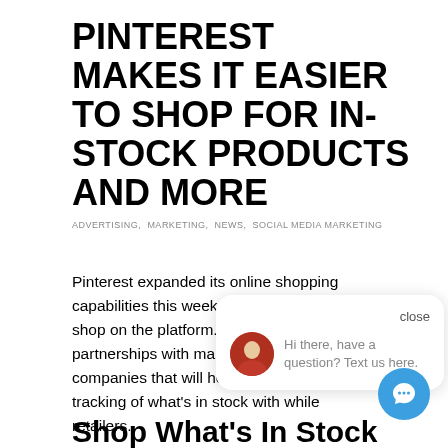PINTEREST MAKES IT EASIER TO SHOP FOR IN-STOCK PRODUCTS AND MORE
ADVERTISING, MARKETING, NEWS, SOCIAL MEDIA MARKETING
Pinterest expanded its online shopping capabilities this week to make it easier to shop on the platform. The updates include partnerships with marketing services companies that will help provide real-time tracking of what's in stock with while retailers.
Shop What's In Stock